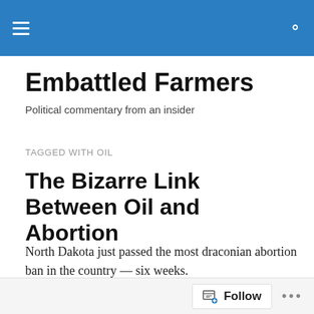Embattled Farmers
Embattled Farmers
Political commentary from an insider
TAGGED WITH OIL
The Bizarre Link Between Oil and Abortion
North Dakota just passed the most draconian abortion ban in the country — six weeks.
And North Dakota is also the most...